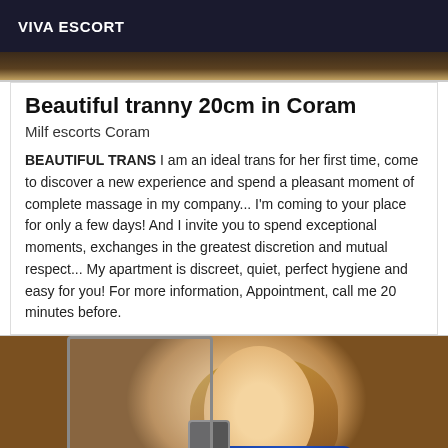VIVA ESCORT
[Figure (photo): Top strip of a photo, dark background]
Beautiful tranny 20cm in Coram
Milf escorts Coram
BEAUTIFUL TRANS I am an ideal trans for her first time, come to discover a new experience and spend a pleasant moment of complete massage in my company... I'm coming to your place for only a few days! And I invite you to spend exceptional moments, exchanges in the greatest discretion and mutual respect... My apartment is discreet, quiet, perfect hygiene and easy for you! For more information, Appointment, call me 20 minutes before.
[Figure (photo): Selfie photo of a person with blonde hair taking a mirror selfie, holding a smartphone, wearing a blue top.]